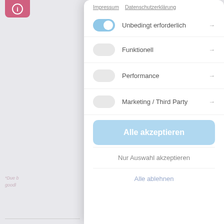[Figure (screenshot): Cookie consent modal overlay on a webpage. The modal shows options: Impressum, Datenschutzerklärung links at top, then toggleable categories: Unbedingt erforderlich (enabled/blue toggle), Funktionell, Performance, Marketing / Third Party — each with a right arrow. Below are three action buttons: Alle akzeptieren (blue, prominent), Nur Auswahl akzeptieren, Alle ablehnen. Background shows dimmed webpage content.]